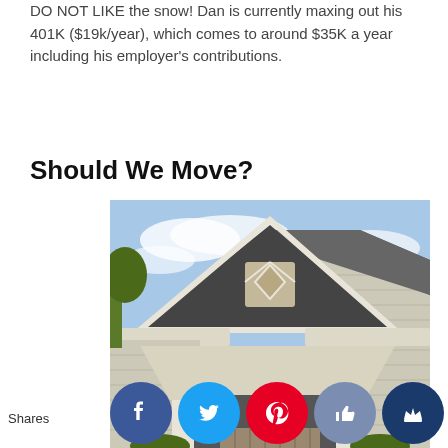DO NOT LIKE the snow! Dan is currently maxing out his 401K ($19k/year), which comes to around $35K a year including his employer's contributions.
Should We Move?
[Figure (photo): Exterior photo of a house showing a craftsman-style gabled porch entry with white trim, columns, and beige/gray siding under a partly cloudy sky.]
Shares